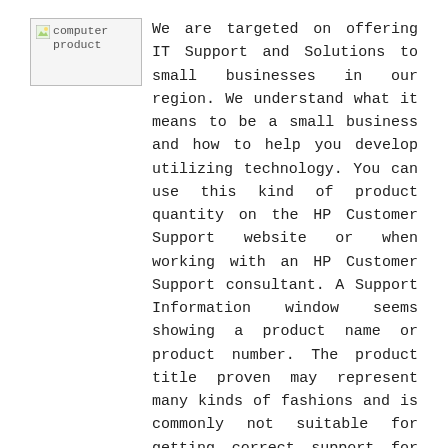[Figure (illustration): Broken/placeholder image icon labeled 'computer product']
We are targeted on offering IT Support and Solutions to small businesses in our region. We understand what it means to be a small business and how to help you develop utilizing technology. You can use this kind of product quantity on the HP Customer Support website or when working with an HP Customer Support consultant. A Support Information window seems showing a product name or product number. The product title proven may represent many kinds of fashions and is commonly not suitable for getting correct support for your pc.
Identify your Acer product and we'll give you downloads, support articles, and different